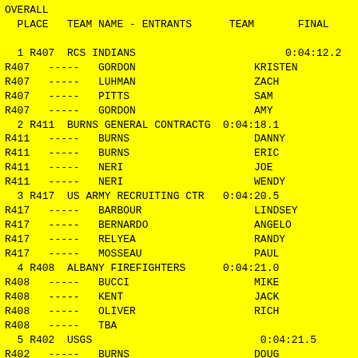OVERALL
  PLACE   TEAM NAME - ENTRANTS      TEAM       FINAL
| PLACE | TEAM | NAME - ENTRANTS | TEAM | FINAL |
| --- | --- | --- | --- | --- |
| 1 R407 | RCS INDIANS |  |  | 0:04:12.2 |
| R407 | ----- | GORDON | KRISTEN |  |
| R407 | ----- | LUHMAN | ZACH |  |
| R407 | ----- | PITTS | SAM |  |
| R407 | ----- | GORDON | AMY |  |
| 2 R411 | BURNS GENERAL CONTRACTG |  |  | 0:04:18.1 |
| R411 | ----- | BURNS | DANNY |  |
| R411 | ----- | BURNS | ERIC |  |
| R411 | ----- | NERI | JOE |  |
| R411 | ----- | NERI | WENDY |  |
| 3 R417 | US ARMY RECRUITING CTR |  |  | 0:04:20.5 |
| R417 | ----- | BARBOUR | LINDSEY |  |
| R417 | ----- | BERNARDO | ANGELO |  |
| R417 | ----- | RELYEA | RANDY |  |
| R417 | ----- | MOSSEAU | PAUL |  |
| 4 R408 | ALBANY FIREFIGHTERS |  |  | 0:04:21.0 |
| R408 | ----- | BUCCI | MIKE |  |
| R408 | ----- | KENT | JACK |  |
| R408 | ----- | OLIVER | RICH |  |
| R408 | ----- | TBA |  |  |
| 5 R402 | USGS |  |  | 0:04:21.5 |
| R402 | ----- | BURNS | DOUG |  |
| R402 | ----- | XX |  |  |
| R402 | ----- | MCHALE | MIKE |  |
| R402 | ----- | XX |  |  |
| 6 R415 | COEYMANS HOLLOW FD |  |  | 0:04:24.3 |
| R415 | ----- | JAKENS | CHRISTINE |  |